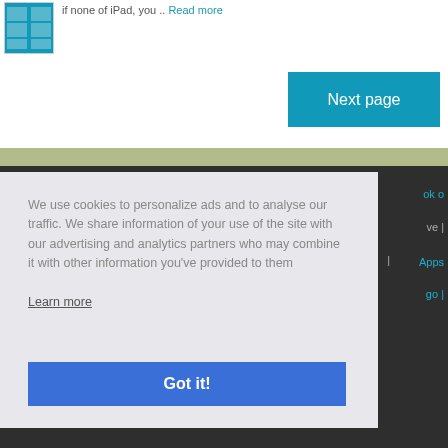[Figure (screenshot): App screenshot showing a photo gallery interface on a mobile device with blue background]
if none of iPad, you ... Read more
Next page
We use cookies to personalize ads and to analyse our traffic. We share information of your use of the site with our advertising and analytics partners who may combine it with other information you've provided to them
Learn more
Got it!